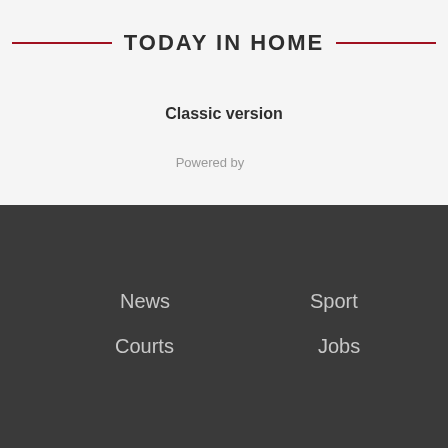TODAY IN HOME
Classic version
Powered by
News
Sport
Courts
Jobs